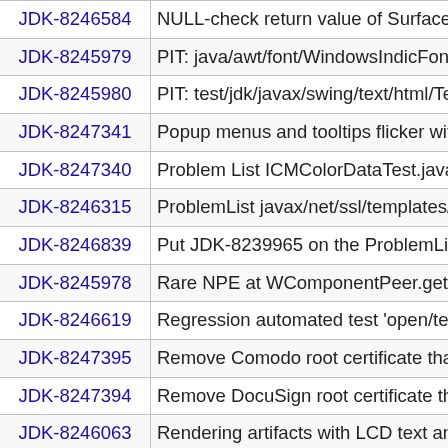| JDK ID | Description |
| --- | --- |
| JDK-8246584 | NULL-check return value of SurfaceData_Inito... |
| JDK-8245979 | PIT: java/awt/font/WindowsIndicFonts.java fai... |
| JDK-8245980 | PIT: test/jdk/javax/swing/text/html/TestJLabelW... |
| JDK-8247341 | Popup menus and tooltips flicker with previous... |
| JDK-8247340 | Problem List ICMColorDataTest.java |
| JDK-8246315 | ProblemList javax/net/ssl/templates/SSLSocke... |
| JDK-8246839 | Put JDK-8239965 on the ProblemList.txt |
| JDK-8245978 | Rare NPE at WComponentPeer.getGraphics()... |
| JDK-8246619 | Regression automated test 'open/test/jdk/java... |
| JDK-8247395 | Remove Comodo root certificate that is expirin... |
| JDK-8247394 | Remove DocuSign root certificate that is expir... |
| JDK-8246063 | Rendering artifacts with LCD text and fractiona... |
| JDK-8247207 | Replace ID2D1Factory::GetDesktopDpi with G... |
| JDK-8245930 | replace JLI_StrTok in java_md_solinux.c |
| JDK-8246319 | Revert TLS 1.3 change that wrapped IOExcep... |
| JDK-8247209 | setMaximizedBounds is broken with large disp... |